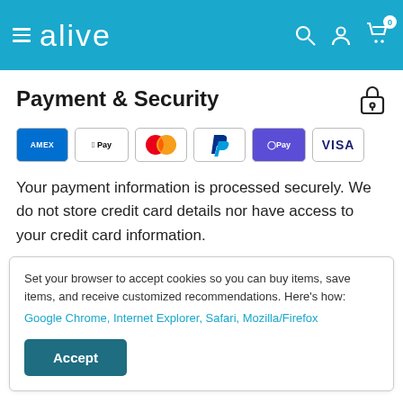alive — navigation header with menu, logo, search, account, and cart icons
Payment & Security
[Figure (other): Payment method icons: American Express (AMEX), Apple Pay, Mastercard, PayPal, Google Pay (GPay), Visa]
Your payment information is processed securely. We do not store credit card details nor have access to your credit card information.
Set your browser to accept cookies so you can buy items, save items, and receive customized recommendations. Here's how: Google Chrome, Internet Explorer, Safari, Mozilla/Firefox
Accept